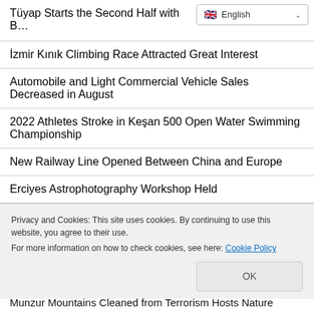Tüyap Starts the Second Half with B…
[Figure (screenshot): Language selector dropdown showing English with flag icon and chevron]
İzmir Kınık Climbing Race Attracted Great Interest
Automobile and Light Commercial Vehicle Sales Decreased in August
2022 Athletes Stroke in Keşan 500 Open Water Swimming Championship
New Railway Line Opened Between China and Europe
Erciyes Astrophotography Workshop Held
TEKNOFEST Black Sea Hosted 1 Million 250 Thousand People
Tramways in Samsun Carried 920 Passengers During
Privacy and Cookies: This site uses cookies. By continuing to use this website, you agree to their use.
For more information on how to check cookies, see here: Cookie Policy
Munzur Mountains Cleaned from Terrorism Hosts Nature